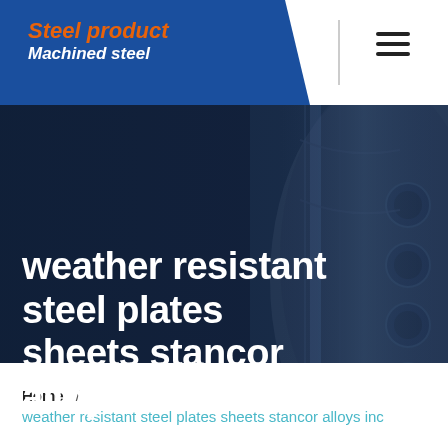Steel product Machined steel
[Figure (photo): Dark blue-tinted industrial steel mechanical parts (gears or flanged components) shown in close-up, used as hero background image]
weather resistant steel plates sheets stancor alloys inc
Home / weather resistant steel plates sheets stancor alloys inc